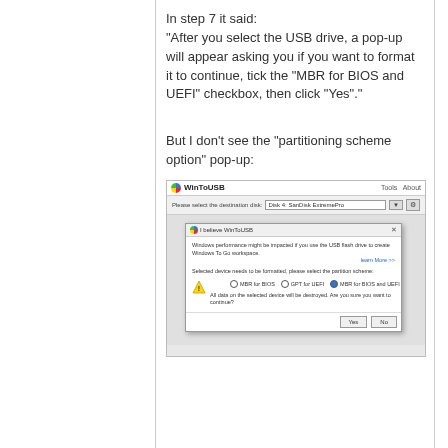In step 7 it said:
"After you select the USB drive, a pop-up will appear asking you if you want to format it to continue, tick the "MBR for BIOS and UEFI" checkbox, then click "Yes"."
But I don't see the "partitioning scheme option" pop-up:
[Figure (screenshot): Screenshot of WinToUSB application showing a dialog box with partitioning scheme options: MBR for BIOS, GPT for UEFI, and MBR for BIOS and UEFI (selected). Dialog warns that selected device needs to be formatted and all data will be destroyed.]